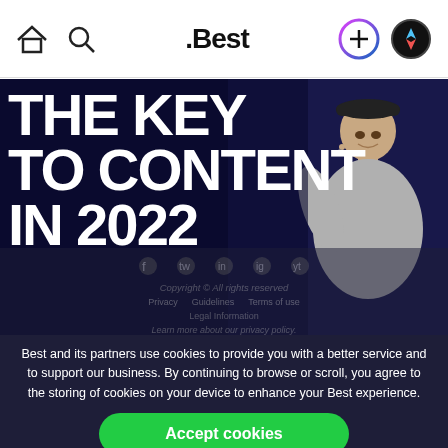.Best
[Figure (screenshot): Hero image showing bold white text 'THE KEY TO CONTENT IN 2022' on a dark blue background, with a man in a gray t-shirt and backwards cap on the right side speaking on stage]
Best and its partners use cookies to provide you with a better service and to support our business. By continuing to browse or scroll, you agree to the storing of cookies on your device to enhance your Best experience.
Accept cookies
Only essentials
Copyright © All rights reserved
Privacy  Guidelines  Terms of use
Legal Information
Learn more about our privacy policy.